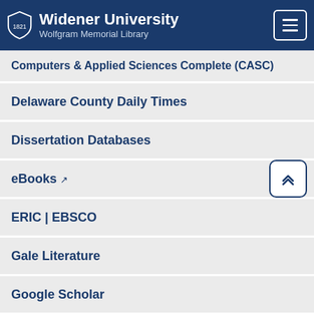Widener University Wolfgram Memorial Library
Computers & Applied Sciences Complete (CASC)
Delaware County Daily Times
Dissertation Databases
eBooks
ERIC | EBSCO
Gale Literature
Google Scholar
HathiTrust
Hospitality & Tourism Complete
Humanities International Complete